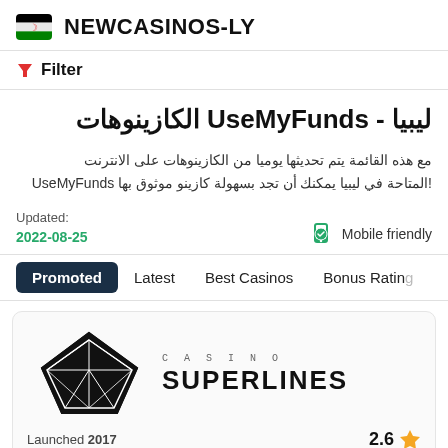NEWCASINOS-LY
Filter
ليبيا - UseMyFunds الكازينوهات
مع هذه القائمة يتم تحديثها يوميا من الكازينوهات على الانترنت المتاحة في ليبيا يمكنك أن تجد بسهولة كازينو موثوق بها UseMyFunds!
Updated: 2022-08-25
Mobile friendly
Promoted   Latest   Best Casinos   Bonus Rating
[Figure (logo): Casino Superlines logo with geometric diamond/crystal shape and text CASINO SUPERLINES]
Launched 2017   2.6